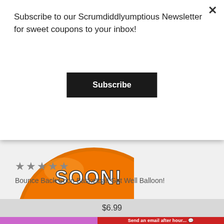Subscribe to our Scrumdiddlyumptious Newsletter for sweet coupons to your inbox!
×
Subscribe
[Figure (photo): Orange round balloon with text 'SOON!' in bold white letters on it, partially visible at the bottom of the modal overlay area]
BOUNCE BACK SOON! BALLOON
★★★★★
Bounce Back Soon Basketball Get Well Balloon!
$6.99
Send an email after hour...